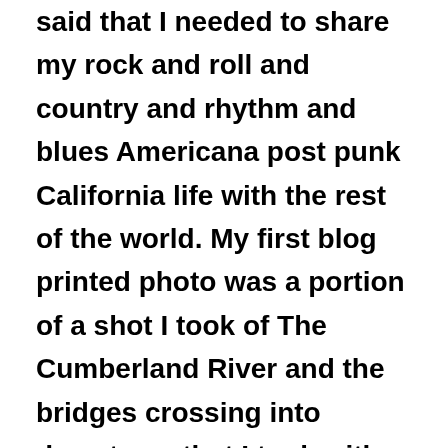said that I needed to share my rock and roll and country and rhythm and blues Americana post punk California life with the rest of the world. My first blog printed photo was a portion of a shot I took of The Cumberland River and the bridges crossing into downtown that I took with a 5 mg Fuji auto focus while visiting Nashville in 2006 and wondering if I